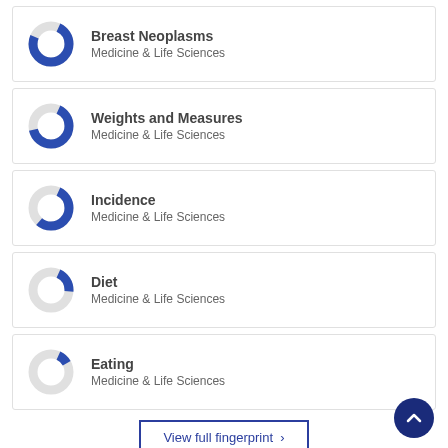[Figure (donut-chart): Donut chart showing roughly 75% blue fill]
Breast Neoplasms
Medicine & Life Sciences
[Figure (donut-chart): Donut chart showing roughly 65% blue fill]
Weights and Measures
Medicine & Life Sciences
[Figure (donut-chart): Donut chart showing roughly 55% blue fill]
Incidence
Medicine & Life Sciences
[Figure (donut-chart): Donut chart showing roughly 20% blue fill]
Diet
Medicine & Life Sciences
[Figure (donut-chart): Donut chart showing roughly 10% blue fill]
Eating
Medicine & Life Sciences
View full fingerprint ›